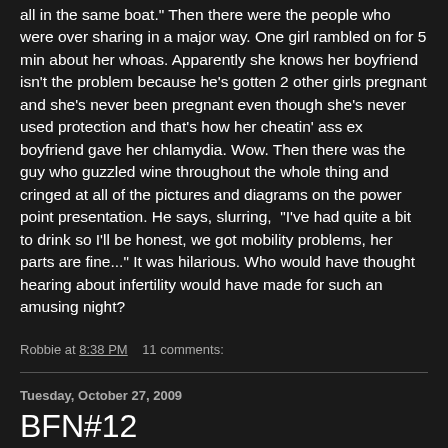all in the same boat." Then there were the people who were over sharing in a major way. One girl rambled on for 5 min about her whoas. Apparently she knows her boyfriend isn't the problem because he's gotten 2 other girls pregnant and she's never been pregnant even though she's never used protection and that's how her cheatin' ass ex boyfriend gave her chlamydia. Wow. Then there was the guy who guzzled wine throughout the whole thing and cringed at all of the pictures and diagrams on the power point presentation. He says, slurring,  "I've had quite a bit to drink so I'll be honest, we got mobility problems, her parts are fine..." It was hilarious. Who would have thought hearing about infertility would have made for such an amusing night?
Robbie at 8:38 PM   11 comments:
Tuesday, October 27, 2009
BFN#12